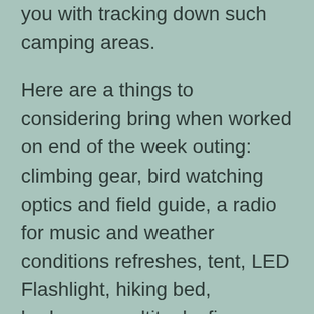you with tracking down such camping areas.
Here are a things to considering bring when worked on end of the week outing: climbing gear, bird watching optics and field guide, a radio for music and weather conditions refreshes, tent, LED Flashlight, hiking bed, barbecue, multitools, fire beginning stuff, loads of food and drink, medical aid pack, a pile of understanding material – this can likewise be utilized for building a fire -, for example, papers and magazines, swiss-armed force blade, crisis get away from devices, computerized tire measure, lounger, canines and canine food,